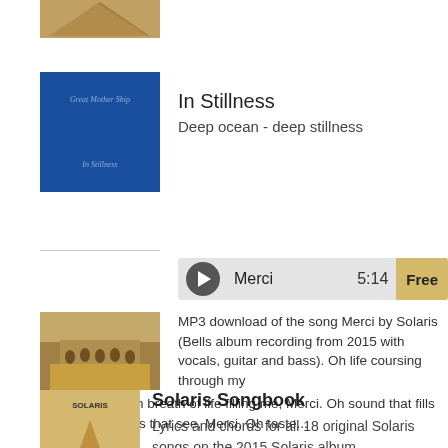[Figure (photo): Partial pyramid thumbnail image at top]
[Figure (photo): Blue album cover with text 'Great Mother Ship' and 'In Stillness']
In Stillness
Deep ocean - deep stillness
[Figure (other): Play button media player bar showing Merci 5:14 Free]
[Figure (photo): Sepia photo of group of people standing in front of a vehicle]
MP3 download of the song Merci by Solaris (Bells album recording from 2015 with vocals, guitar and bass). Oh life coursing through my veins, Oh life. Oh breath of life filling me, Merci. Oh sound that fills my ears, Oh eyes that see, Merci. Oh taste...
[Figure (photo): Solaris Songbook cover with gold/cream color and silhouettes]
Solaris Songbook
Lyrics and chords for all 18 original Solaris songs on the 2015 Solaris album.